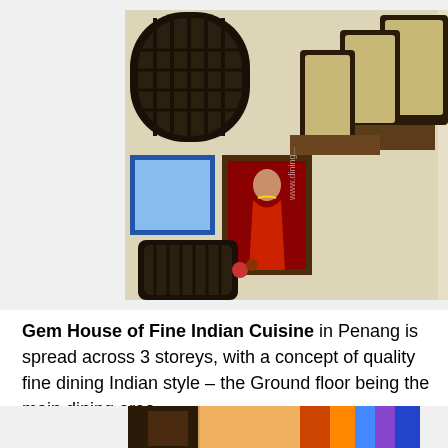[Figure (photo): Interior photo of Gem House of Fine Indian Cuisine restaurant, rotated 90 degrees. Shows dining chairs, wooden furniture, decorative arched window/grill, framed painting of an Indian woman in traditional attire, and another decorative display below. Warm cream-colored walls.]
Gem House of Fine Indian Cuisine in Penang is spread across 3 storeys, with a concept of quality fine dining Indian style – the Ground floor being the main dining area.
[Figure (photo): Partial view of another interior or exterior photo, cropped at the bottom of the page. Shows warm lighting and decorative elements.]